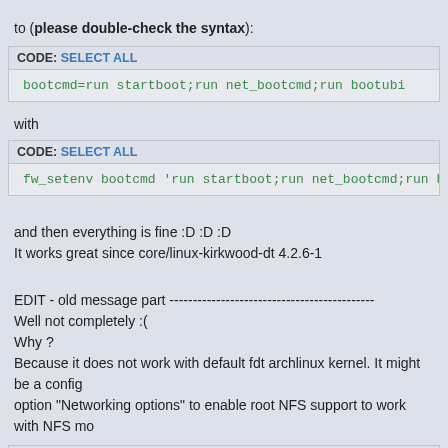to (please double-check the syntax):
CODE: SELECT ALL
bootcmd=run startboot;run net_bootcmd;run bootubi
with
CODE: SELECT ALL
fw_setenv bootcmd 'run startboot;run net_bootcmd;run bootubi
and then everything is fine :D :D :D
It works great since core/linux-kirkwood-dt 4.2.6-1
EDIT - old message part --------------------------------------------
Well not completely :(
Why ?
Because it does not work with default fdt archlinux kernel. It might be a config option "Networking options" to enable root NFS support to work with NFS mo
CODE: SELECT ALL